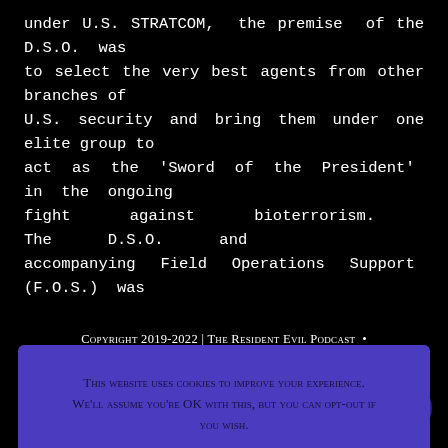under U.S. STRATCOM, the premise of the D.S.O. was to select the very best agents from other branches of U.S. security and bring them under one elite group to act as the 'Sword of the President' in the ongoing fight against bioterrorism. The D.S.O. and accompanying Field Operations Support (F.O.S.) was
This website uses cookies to improve your experience. We'll assume you're OK with this, but you can opt-out if you wish. Cookie Settings  Accept
Copyright 2019-2022 | The Resident Evil Podcast • Privacy Policy & Website T&Cs • Website by Web Cherub